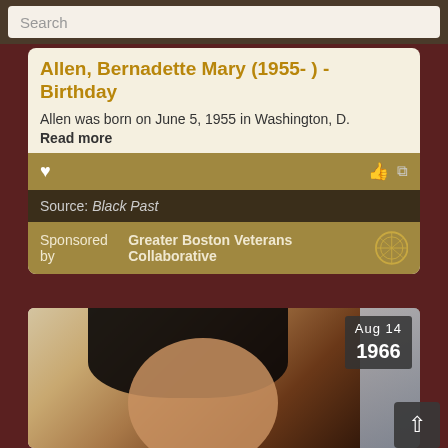Search
Allen, Bernadette Mary (1955- ) - Birthday
Allen was born on June 5, 1955 in Washington, D.
Read more
Source: Black Past
Sponsored by Greater Boston Veterans Collaborative
[Figure (photo): Portrait photo of a Black woman with short dark hair, partially visible, with a date badge showing Aug 14 1966]